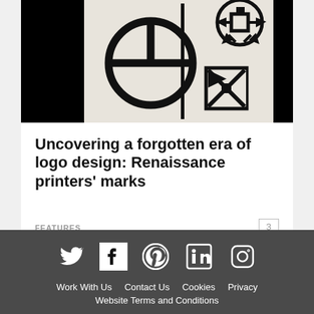[Figure (illustration): Renaissance printers marks symbols on black and white background — circle with cross/pie divisions, hourglass/bowtie shape, and ornate cross with arrows]
Uncovering a forgotten era of logo design: Renaissance printers' marks
FEATURES
3
Work With Us  Contact Us  Cookies  Privacy  Website Terms and Conditions